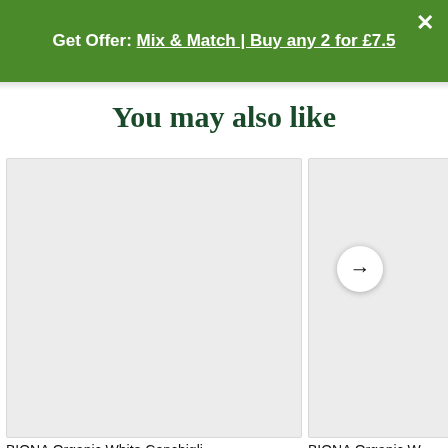Get Offer: Mix & Match | Buy any 2 for £7.5
You may also like
[Figure (photo): Product image placeholder for BIONA Organic White Conchigli... — light grey rectangle]
BIONA Organic White Conchigli...
[Figure (photo): Partially visible product image placeholder for BIONA Organic W... — light grey rectangle with right-arrow navigation button]
BIONA Organic W